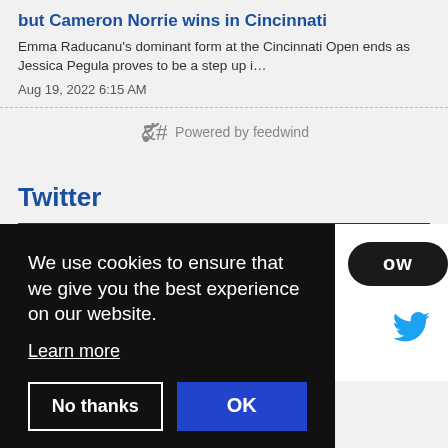but Cameron Norrie wins in Cincinnati
Emma Raducanu's dominant form at the Cincinnati Open ends as Jessica Pegula proves to be a step up i…
Aug 19, 2022 6:15 AM
Powered by feedwind
Twitter
We use cookies to ensure that we give you the best experience on our website.
Learn more
No thanks
OK
Save the date - Tennis